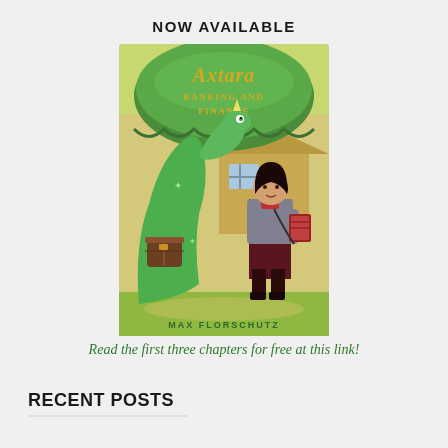NOW AVAILABLE
[Figure (illustration): Book cover for 'Axtara Banking and Finance' by Max Florschutz. Features a large green dragon with a satchel and a young woman holding books, standing in front of a building with a green awning. The title 'Axtara Banking and Finance' is in gold lettering on the awning. Author name 'Max Florschutz' at the bottom in green.]
Read the first three chapters for free at this link!
RECENT POSTS